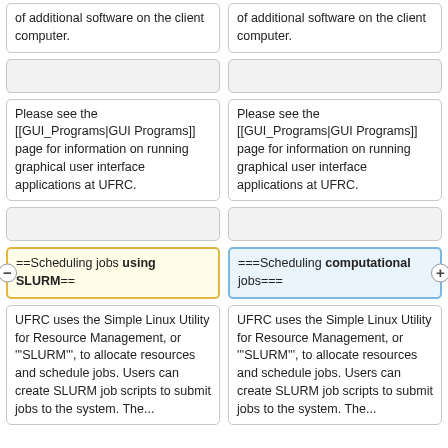of additional software on the client computer.
of additional software on the client computer.
Please see the [[GUI_Programs|GUI Programs]] page for information on running graphical user interface applications at UFRC.
Please see the [[GUI_Programs|GUI Programs]] page for information on running graphical user interface applications at UFRC.
==Scheduling jobs using SLURM==
===Scheduling computational jobs===
UFRC uses the Simple Linux Utility for Resource Management, or '''SLURM''', to allocate resources and schedule jobs. Users can create SLURM job scripts to submit jobs to the system. The...
UFRC uses the Simple Linux Utility for Resource Management, or '''SLURM''', to allocate resources and schedule jobs. Users can create SLURM job scripts to submit jobs to the system. The...